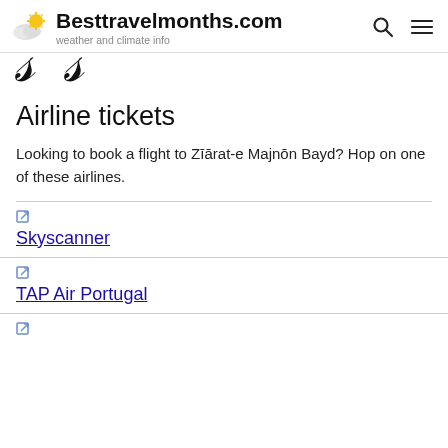Besttravelmonths.com — weather and climate info
Airline tickets
Looking to book a flight to Zīārat-e Majnōn Bayd? Hop on one of these airlines.
Skyscanner
TAP Air Portugal
(third airline, partial)